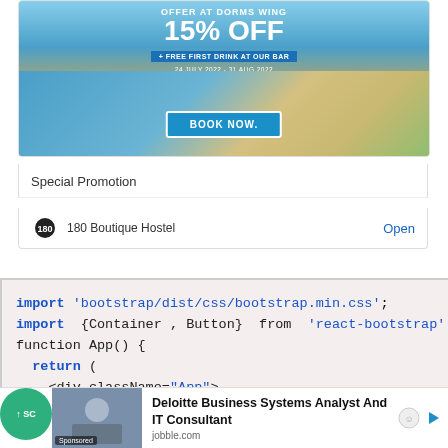[Figure (screenshot): Advertisement for 180 Boutique Hostel with beach background, showing '15% OFF' offer at Dorms Wing, free first drink at bar, dates 24 July 2022 - 31 Aug 2022, and a BOOK NOW button]
Special Promotion
180 Boutique Hostel   Open
import 'bootstrap/dist/css/bootstrap.min.css';
import {Container , Button} from 'react-bootstrap'
function App() {
  return (
    <div className="App">
[Figure (screenshot): Bottom advertisement banner: Deloitte Business Systems Analyst And IT Consultant, jobble.com, with sponsored image of person at laptop]